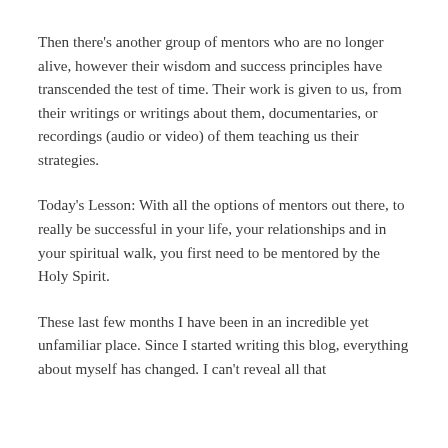Then there's another group of mentors who are no longer alive, however their wisdom and success principles have transcended the test of time. Their work is given to us, from their writings or writings about them, documentaries, or recordings (audio or video) of them teaching us their strategies.
Today's Lesson: With all the options of mentors out there, to really be successful in your life, your relationships and in your spiritual walk, you first need to be mentored by the Holy Spirit.
These last few months I have been in an incredible yet unfamiliar place. Since I started writing this blog, everything about myself has changed. I can't reveal all that